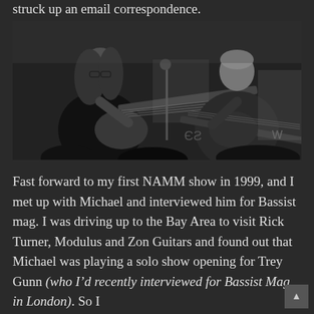struck up an email correspondence.
[Figure (photo): Black and white photo of two musicians playing bass guitars on stage, one with long hair on the left and one older man with short grey hair on the right, audience visible in foreground]
Fast forward to my first NAMM show in 1999, and I met up with Michael and interviewed him for Bassist mag. I was driving up to the Bay Area to visit Rick Turner, Modulus and Zon Guitars and found out that Michael was playing a solo show opening for Trey Gunn (who I'd recently interviewed for Bassist Mag in London). So I